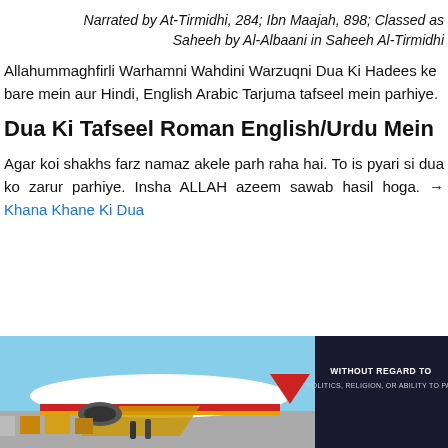Narrated by At-Tirmidhi, 284; Ibn Maajah, 898; Classed as Saheeh by Al-Albaani in Saheeh Al-Tirmidhi
Allahummaghfirli Warhamni Wahdini Warzuqni Dua Ki Hadees ke bare mein aur Hindi, English Arabic Tarjuma tafseel mein parhiye.
Dua Ki Tafseel Roman English/Urdu Mein
Agar koi shakhs farz namaz akele parh raha hai. To is pyari si dua ko zarur parhiye. Insha ALLAH azeem sawab hasil hoga. → Khana Khane Ki Dua
[Figure (photo): Advertisement banner showing an airplane being loaded with cargo, with a dark overlay box on the right reading 'WITHOUT REGARD TO POLITICS, RELIGION, OR ABILITY TO PAY']